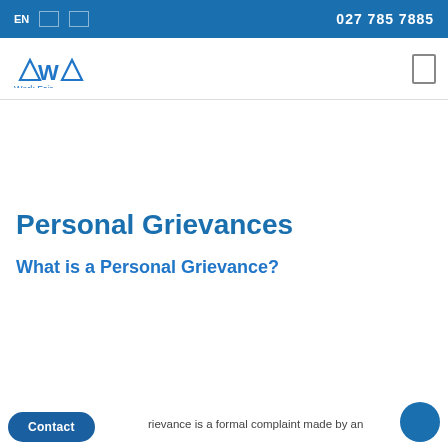EN  027 785 7885
[Figure (logo): Work Fair logo with scales of justice icon and text 'Work Fair' in blue]
Personal Grievances
What is a Personal Grievance?
rievance is a formal complaint made by an